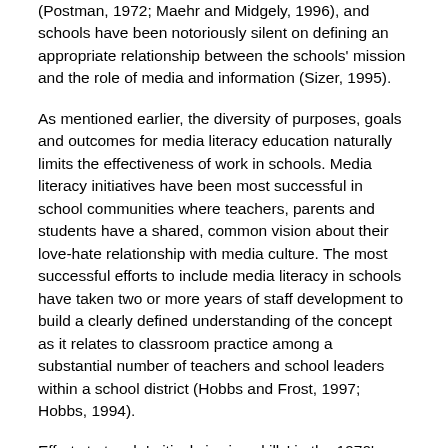(Postman, 1972; Maehr and Midgely, 1996), and schools have been notoriously silent on defining an appropriate relationship between the schools' mission and the role of media and information (Sizer, 1995).
As mentioned earlier, the diversity of purposes, goals and outcomes for media literacy education naturally limits the effectiveness of work in schools. Media literacy initiatives have been most successful in school communities where teachers, parents and students have a shared, common vision about their love-hate relationship with media culture. The most successful efforts to include media literacy in schools have taken two or more years of staff development to build a clearly defined understanding of the concept as it relates to classroom practice among a substantial number of teachers and school leaders within a school district (Hobbs and Frost, 1997; Hobbs, 1994).
Efforts to teach 'critical viewing skills' in the 1970's were largely unsuccessful because the programs were not designed with sensitivity to the realities of existing school cultures, the values of particular communities, or the larger context of American public schools. Anderson (1983) strongly chastised media scholars' tendency to ignore the realities of school boards, superintendents, teachers, students and parents.